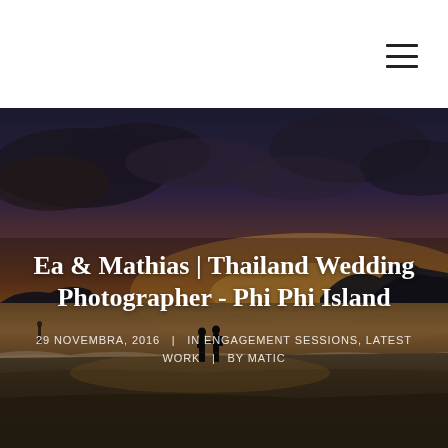[Figure (photo): Sunset beach scene at Phi Phi Island, Thailand. Two silhouetted figures (a couple) walk hand-in-hand along the shoreline. Dramatic orange and golden sky with dark clouds reflected on wet sand. Mountainous island silhouette in the background.]
Ea & Mathias | Thailand Wedding Photographer - Phi Phi Island
29 NOVEMBRA, 2016   |   IN ENGAGEMENT SESSIONS, LATEST WORK   |   BY MATIC